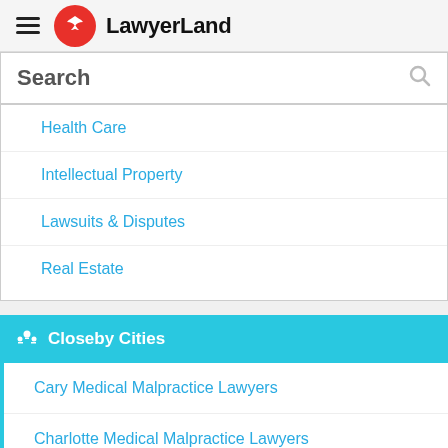LawyerLand
Search
Health Care
Intellectual Property
Lawsuits & Disputes
Real Estate
Closeby Cities
Cary Medical Malpractice Lawyers
Charlotte Medical Malpractice Lawyers